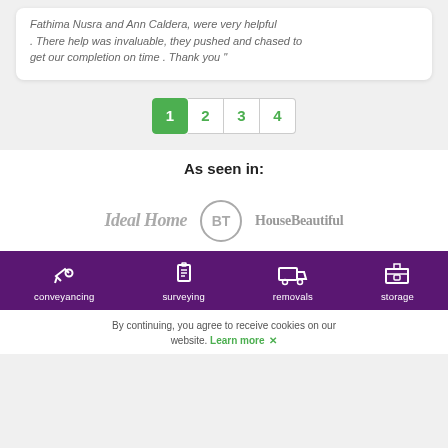Fathima Nusra and Ann Caldera, were very helpful. There help was invaluable, they pushed and chased to get our completion on time. Thank you"
[Figure (other): Pagination control showing pages 1 (active, green), 2, 3, 4]
As seen in:
[Figure (logo): Logos: Ideal Home, BT (circle logo), HouseBeautiful]
[Figure (infographic): Purple footer bar with icons and labels: conveyancing (key icon), surveying (clipboard icon), removals (truck icon), storage (garage icon)]
By continuing, you agree to receive cookies on our website. Learn more ✕